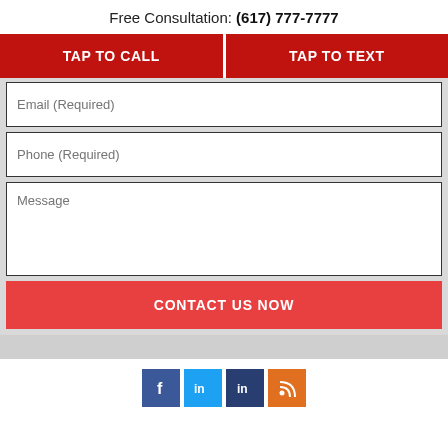Free Consultation: (617) 777-7777
TAP TO CALL
TAP TO TEXT
Email (Required)
Phone (Required)
Message
CONTACT US NOW
[Figure (illustration): Social media icons: Facebook (blue), Twitter (light blue), LinkedIn (dark blue), RSS (orange)]